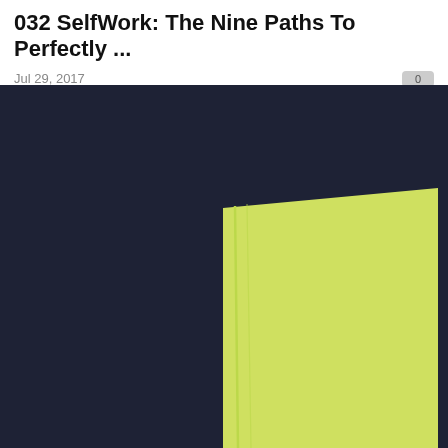032 SelfWork: The Nine Paths To Perfectly ...
Jul 29, 2017
[Figure (photo): Dark navy background with a lime/yellow-green book visible in the bottom-right corner, partially cut off. The image appears to be a podcast episode thumbnail or book cover preview.]